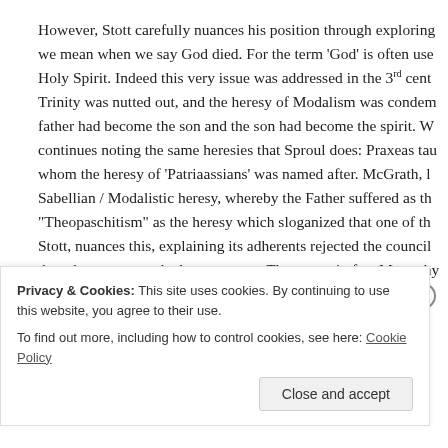However, Stott carefully nuances his position through exploring what we mean when we say God died. For the term 'God' is often used for the Holy Spirit. Indeed this very issue was addressed in the 3rd century when the Trinity was nutted out, and the heresy of Modalism was condemned – the father had become the son and the son had become the spirit. Warfield continues noting the same heresies that Sproul does: Praxeas taught this, whom the heresy of 'Patriaassians' was named after. McGrath, labels the Sabellian / Modalistic heresy, whereby the Father suffered as the Son as "Theopaschitism" as the heresy which sloganized that one of the Trinity. Stott, nuances this, explaining its adherents rejected the council's ruling though one person; had two natures. They were in fact Monophysites who had a divine nature; therefore denying his human nature.[5]
Privacy & Cookies: This site uses cookies. By continuing to use this website, you agree to their use.
To find out more, including how to control cookies, see here: Cookie Policy